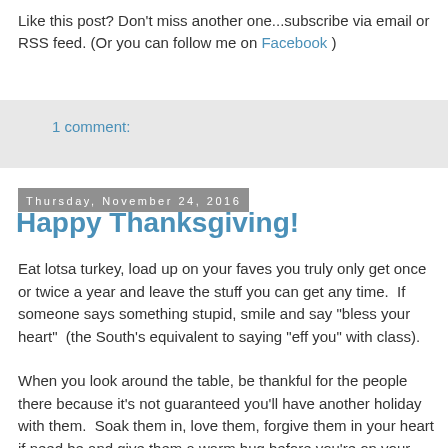Like this post? Don't miss another one...subscribe via email or RSS feed. (Or you can follow me on Facebook )
1 comment:
Thursday, November 24, 2016
Happy Thanksgiving!
Eat lotsa turkey, load up on your faves you truly only get once or twice a year and leave the stuff you can get any time.  If someone says something stupid, smile and say "bless your heart"  (the South's equivalent to saying "eff you" with class).
When you look around the table, be thankful for the people there because it's not guaranteed you'll have another holiday with them.  Soak them in, love them, forgive them in your heart if need be and give them a warm hug before you're on your way.